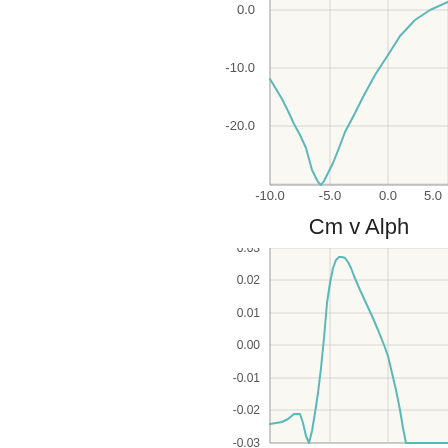[Figure (continuous-plot): Top chart (partial, cropped): a continuous line plot showing a curve that dips to about -20 near x=-5, then rises. Y-axis labels: 0.0, -10.0, -20.0. X-axis labels: -10.0, -5.0, 0.0, 5.0 (partial).]
Cm v Alph
[Figure (continuous-plot): Bottom chart: Cm v Alpha. A continuous line plot. The curve starts near -0.03 on the left, rises to a peak of about 0.027 near x=-4, drops sharply around x=0, then continues falling beyond -0.03 at right edge. Y-axis labels: 0.03, 0.02, 0.01, 0.00, -0.01, -0.02, -0.03.]